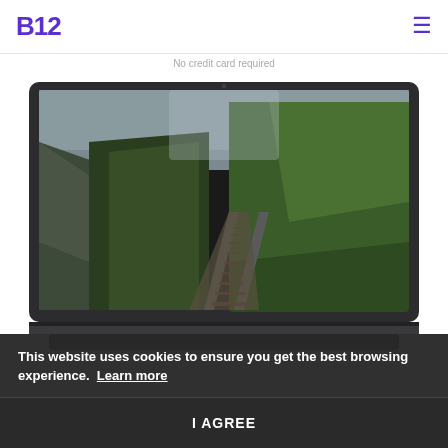B12  ≡
No credit card required
[Figure (screenshot): Laptop mockup showing a nature photo of a forest railway track disappearing into fog and trees, displayed on a dark laptop screen]
This website uses cookies to ensure you get the best browsing experience. Learn more
I AGREE